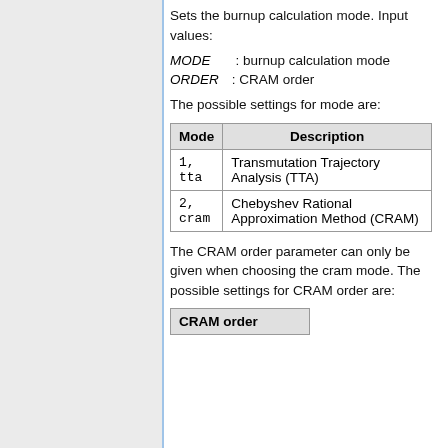Sets the burnup calculation mode. Input values:
MODE : burnup calculation mode
ORDER : CRAM order
The possible settings for mode are:
| Mode | Description |
| --- | --- |
| 1,
tta | Transmutation Trajectory Analysis (TTA) |
| 2,
cram | Chebyshev Rational Approximation Method (CRAM) |
The CRAM order parameter can only be given when choosing the cram mode. The possible settings for CRAM order are:
| CRAM order |
| --- |